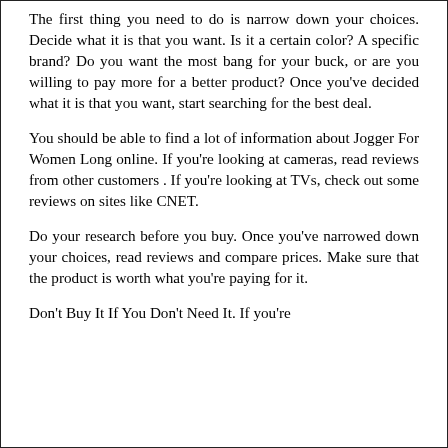The first thing you need to do is narrow down your choices. Decide what it is that you want. Is it a certain color? A specific brand? Do you want the most bang for your buck, or are you willing to pay more for a better product? Once you've decided what it is that you want, start searching for the best deal.
You should be able to find a lot of information about Jogger For Women Long online. If you're looking at cameras, read reviews from other customers . If you're looking at TVs, check out some reviews on sites like CNET.
Do your research before you buy. Once you've narrowed down your choices, read reviews and compare prices. Make sure that the product is worth what you're paying for it.
Don't Buy It If You Don't Need It. If you're